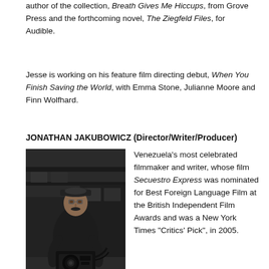author of the collection, Breath Gives Me Hiccups, from Grove Press and the forthcoming novel, The Ziegfeld Files, for Audible.
Jesse is working on his feature film directing debut, When You Finish Saving the World, with Emma Stone, Julianne Moore and Finn Wolfhard.
JONATHAN JAKUBOWICZ (Director/Writer/Producer)
[Figure (photo): Black and white photo of a man (Jonathan Jakubowicz) operating a film camera on what appears to be a train platform or industrial setting. He is wearing a dark jacket and flat cap.]
Venezuela's most celebrated filmmaker and writer, whose film Secuestro Express was nominated for Best Foreign Language Film at the British Independent Film Awards and was a New York Times "Critics' Pick", in 2005.